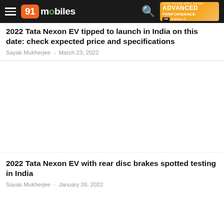91mobiles
2022 Tata Nexon EV tipped to launch in India on this date: check expected price and specifications
Sayak Mukherjee - March 23, 2022
[Figure (photo): Article thumbnail image placeholder (white/blank area)]
2022 Tata Nexon EV with rear disc brakes spotted testing in India
Sayak Mukherjee - January 28, 2022